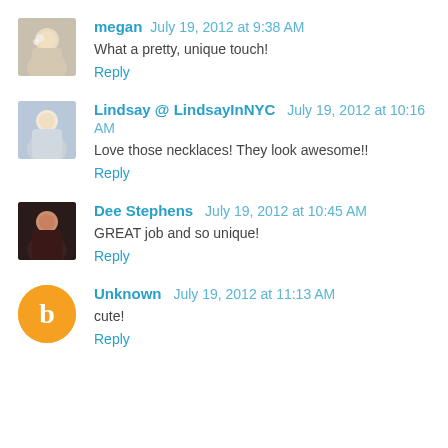megan July 19, 2012 at 9:38 AM
What a pretty, unique touch!
Reply
Lindsay @ LindsayInNYC July 19, 2012 at 10:16 AM
Love those necklaces! They look awesome!!
Reply
Dee Stephens July 19, 2012 at 10:45 AM
GREAT job and so unique!
Reply
Unknown July 19, 2012 at 11:13 AM
cute!
Reply